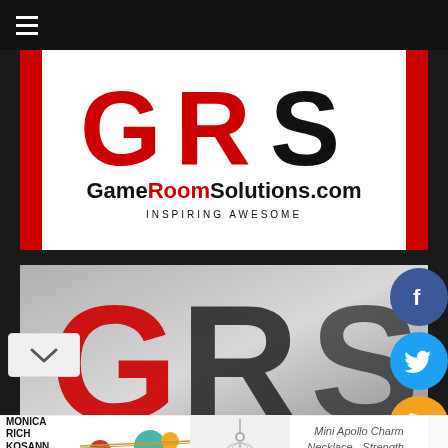[Figure (logo): GRS GameRoomSolutions.com logo with red and black GRS letters, tagline INSPIRING AWESOME]
[Figure (screenshot): GameRoomSolutions.com website screenshot showing GRS logo on grey background with Facebook and Twitter social icons on the right, and a dropdown chevron on the left]
[Figure (photo): Advertisement banner: Left side shows Monica Rich Kosann jewelry ad with colorful beaded bracelet. Center shows Mini Apollo Charm Necklace pendant. Right shows product name 'Mini Apollo Charm Necklace - Strength - No Chain' priced at $125]